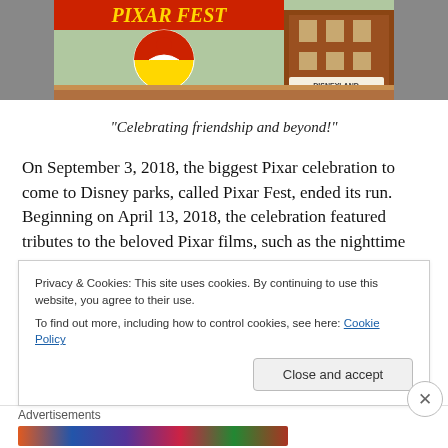[Figure (photo): Pixar Fest signage at Disneyland with colorful Pixar ball logo and 'DISNEYLAND' text on building facade]
“Celebrating friendship and beyond!”
On September 3, 2018, the biggest Pixar celebration to come to Disney parks, called Pixar Fest, ended its run. Beginning on April 13, 2018, the celebration featured tributes to the beloved Pixar films, such as the nighttime show Together Forever – A Pixar Nighttime Spectacular,
Privacy & Cookies: This site uses cookies. By continuing to use this website, you agree to their use.
To find out more, including how to control cookies, see here: Cookie Policy
Close and accept
Advertisements